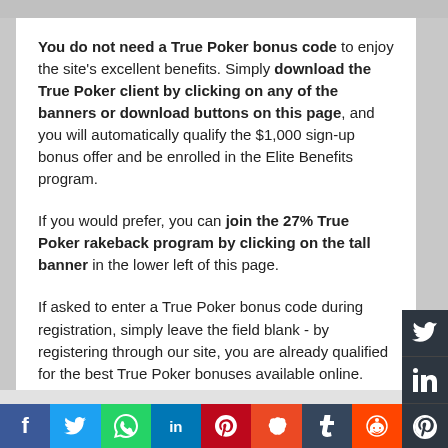You do not need a True Poker bonus code to enjoy the site's excellent benefits. Simply download the True Poker client by clicking on any of the banners or download buttons on this page, and you will automatically qualify the $1,000 sign-up bonus offer and be enrolled in the Elite Benefits program.
If you would prefer, you can join the 27% True Poker rakeback program by clicking on the tall banner in the lower left of this page.
If asked to enter a True Poker bonus code during registration, simply leave the field blank - by registering through our site, you are already qualified for the best True Poker bonuses available online.
TruePoker Rakeback
If you generate <$18,200/year in rake & fees, you are better off participating in the True Poker rakeback program, which is not available from the TruePoker website. To sign up for this exclusive 27% rakeback deal simply click the